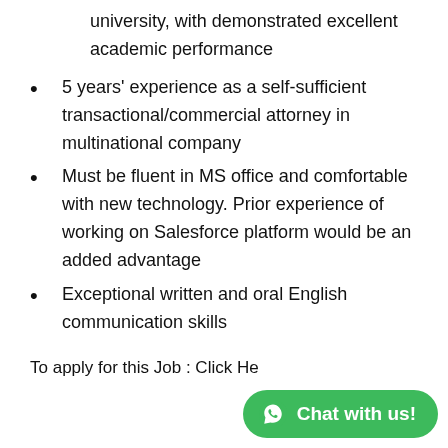university, with demonstrated excellent academic performance
5 years' experience as a self-sufficient transactional/commercial attorney in multinational company
Must be fluent in MS office and comfortable with new technology. Prior experience of working on Salesforce platform would be an added advantage
Exceptional written and oral English communication skills
To apply for this Job : Click He...
[Figure (other): WhatsApp Chat with us! button overlay in green, partially covering the apply text]